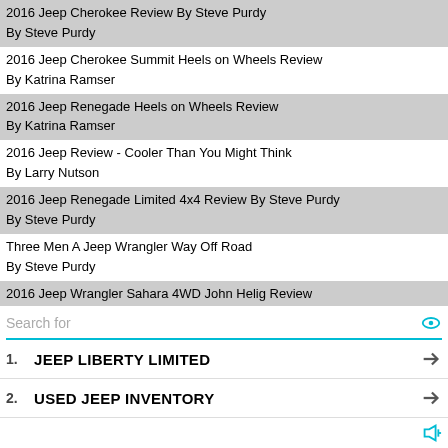2016 Jeep Cherokee Review By Steve Purdy
By Steve Purdy
2016 Jeep Cherokee Summit Heels on Wheels Review
By Katrina Ramser
2016 Jeep Renegade Heels on Wheels Review
By Katrina Ramser
2016 Jeep Review - Cooler Than You Might Think
By Larry Nutson
2016 Jeep Renegade Limited 4x4 Review By Steve Purdy
By Steve Purdy
Three Men A Jeep Wrangler Way Off Road
By Steve Purdy
2016 Jeep Wrangler Sahara 4WD John Helig Review
By John Heilig
2016 Jeep Wrangler Sahara 4x4 John Helig Review
By John Heilig
2016 Jeep Wrangler Unlimited 75th Anniversary Edition
By Steve Purdy
2016 Jeep Wrangler Willys Wheeler Edition Review
By Larry Nutson
[Figure (infographic): Ad panel with search bar showing 'Search for' with eye icon, followed by two sponsored results: 1. JEEP LIBERTY LIMITED with arrow, 2. USED JEEP INVENTORY with arrow, and a footer with a speaker/ad icon.]